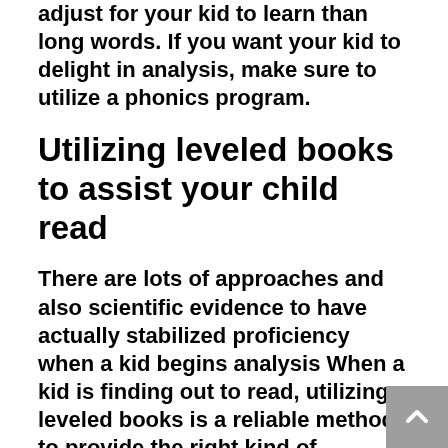adjust for your kid to learn than long words. If you want your kid to delight in analysis, make sure to utilize a phonics program.
Utilizing leveled books to assist your child read
There are lots of approaches and also scientific evidence to have actually stabilized proficiency when a kid begins analysis When a kid is finding out to read, utilizing leveled books is a reliable method to provide the right kind of instruction. It is an additional strategy to teaching reading their